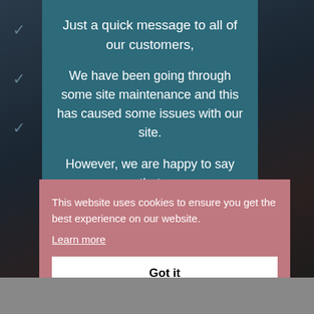Just a quick message to all of our customers,
We have been going through some site maintenance and this has caused some issues with our site.
However, we are happy to say that
This website uses cookies to ensure you get the best experience on our website.
Learn more
Got it